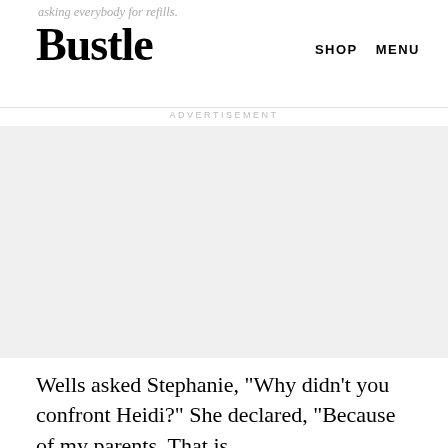asking everybody for refills.
Bustle
SHOP   MENU
[Figure (other): Advertisement placeholder area with light gray background]
Wells asked Stephanie, "Why didn't you confront Heidi?" She declared, "Because of my parents. That is